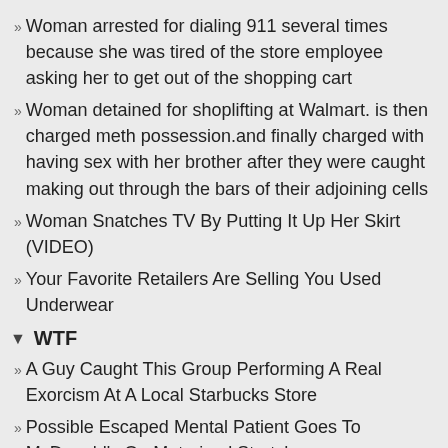Woman arrested for dialing 911 several times because she was tired of the store employee asking her to get out of the shopping cart
Woman detained for shoplifting at Walmart. is then charged meth possession.and finally charged with having sex with her brother after they were caught making out through the bars of their adjoining cells
Woman Snatches TV By Putting It Up Her Skirt (VIDEO)
Your Favorite Retailers Are Selling You Used Underwear
WTF
A Guy Caught This Group Performing A Real Exorcism At A Local Starbucks Store
Possible Escaped Mental Patient Goes To McDonald's On Motorised Stretcher
The people of Walmart gone wild
10 Even Crazier Vending Machines from around the